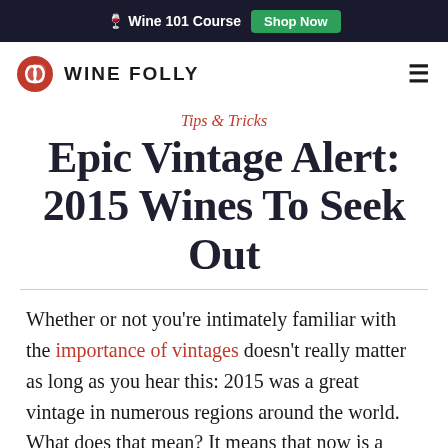🍷 Wine 101 Course  Shop Now
WINE FOLLY
Tips & Tricks
Epic Vintage Alert: 2015 Wines To Seek Out
Whether or not you're intimately familiar with the importance of vintages doesn't really matter as long as you hear this: 2015 was a great vintage in numerous regions around the world. What does that mean? It means that now is a great time to